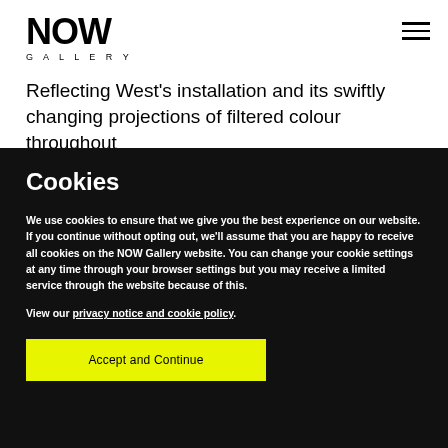[Figure (logo): NOW Gallery logo with bold 'NOW' text and 'GALLERY' in spaced capitals below]
Reflecting West's installation and its swiftly changing projections of filtered colour throughout the length of…
Cookies
We use cookies to ensure that we give you the best experience on our website. If you continue without opting out, we'll assume that you are happy to receive all cookies on the NOW Gallery website. You can change your cookie settings at any time through your browser settings but you may receive a limited service through the website because of this.
View our privacy notice and cookie policy.
Accept and Continue